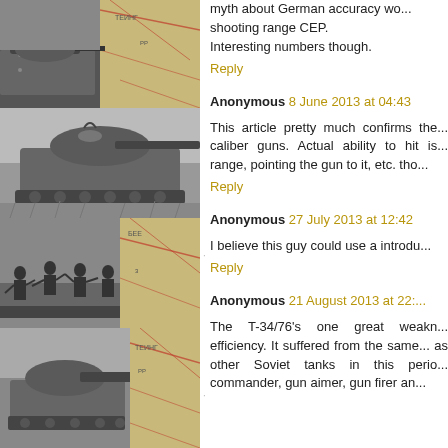[Figure (photo): Four black and white historical photos of Soviet tanks and soldiers, arranged in a vertical stack on the left column. Photos show: (1) close-up of tank gun with map background, (2) T-34 tank in a field, (3) soldiers on a tank with map background, (4) tank with gun and map background.]
myth about German accuracy wo... shooting range CEP.
Interesting numbers though.
Reply
Anonymous 8 June 2013 at 04:43
This article pretty much confirms the... caliber guns. Actual ability to hit is... range, pointing the gun to it, etc. tho...
Reply
Anonymous 27 July 2013 at 12:42
I believe this guy could use a introdu...
Reply
Anonymous 21 August 2013 at 22:...
The T-34/76's one great weakn... efficiency. It suffered from the same... as other Soviet tanks in this perio... commander, gun aimer, gun firer an... ...